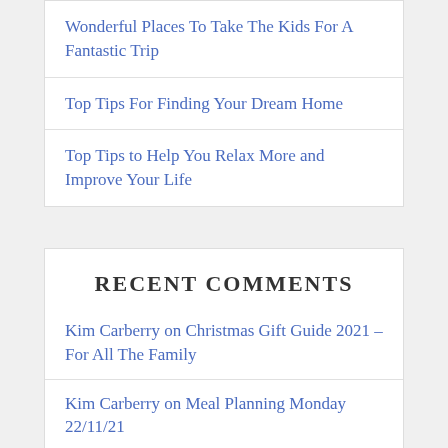Wonderful Places To Take The Kids For A Fantastic Trip
Top Tips For Finding Your Dream Home
Top Tips to Help You Relax More and Improve Your Life
RECENT COMMENTS
Kim Carberry on Christmas Gift Guide 2021 – For All The Family
Kim Carberry on Meal Planning Monday 22/11/21
Kim Carberry on How To Manage